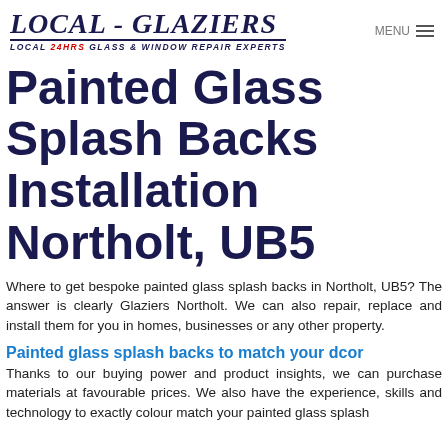LOCAL - GLAZIERS LOCAL 24HRS GLASS & WINDOW REPAIR EXPERTS | MENU
Painted Glass Splash Backs Installation Northolt, UB5
Where to get bespoke painted glass splash backs in Northolt, UB5? The answer is clearly Glaziers Northolt. We can also repair, replace and install them for you in homes, businesses or any other property.
Painted glass splash backs to match your dcor
Thanks to our buying power and product insights, we can purchase materials at favourable prices. We also have the experience, skills and technology to exactly colour match your painted glass splash